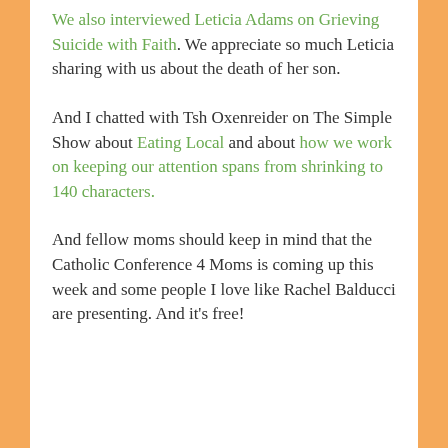We also interviewed Leticia Adams on Grieving Suicide with Faith. We appreciate so much Leticia sharing with us about the death of her son.
And I chatted with Tsh Oxenreider on The Simple Show about Eating Local and about how we work on keeping our attention spans from shrinking to 140 characters.
And fellow moms should keep in mind that the Catholic Conference 4 Moms is coming up this week and some people I love like Rachel Balducci are presenting. And it's free!